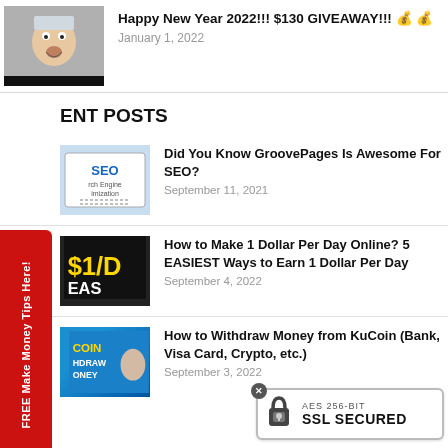[Figure (photo): Thumbnail of a man with surprised face expression]
Happy New Year 2022!!! $130 GIVEAWAY!!! 💰 💰
January 1, 2022
ENT POSTS
[Figure (screenshot): Thumbnail for GroovePages SEO article]
Did You Know GroovePages Is Awesome For SEO?
September 11, 2021
[Figure (photo): Thumbnail for $1/day article with yellow text]
How to Make 1 Dollar Per Day Online? 5 EASIEST Ways to Earn 1 Dollar Per Day
September 4, 2022
[Figure (photo): Thumbnail for KuCoin withdraw article — man pointing, blue background, COIN and HDRAW ONEY text]
How to Withdraw Money from KuCoin (Bank, Visa Card, Crypto, etc.)
September 3, 2022
[Figure (infographic): AES 256-BIT SSL SECURED badge with padlock icon]
FREE Make Money Tips Here! (vertical red tab)